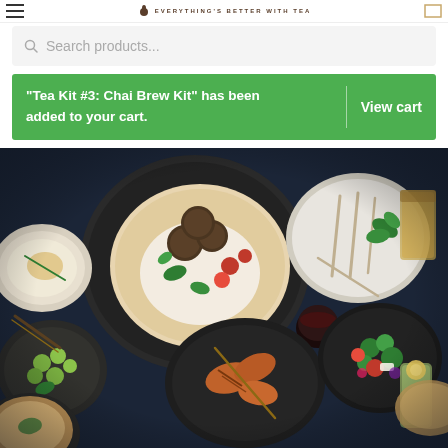EVERYTHING'S BETTER WITH TEA
Search products...
"Tea Kit #3: Chai Brew Kit" has been added to your cart.  View cart
[Figure (photo): Overhead shot of a dinner table spread with various Middle Eastern dishes including falafel flatbread, grilled chicken skewers, Greek salad, olives, hummus, and glasses of iced tea and red wine on a dark navy tablecloth]